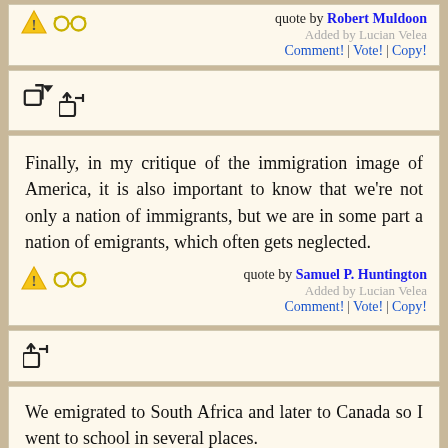quote by Robert Muldoon
Added by Lucian Velea
Comment! | Vote! | Copy!
[Figure (other): Share icon (export arrow)]
Finally, in my critique of the immigration image of America, it is also important to know that we're not only a nation of immigrants, but we are in some part a nation of emigrants, which often gets neglected.
quote by Samuel P. Huntington
Added by Lucian Velea
Comment! | Vote! | Copy!
[Figure (other): Share icon (export arrow)]
We emigrated to South Africa and later to Canada so I went to school in several places.